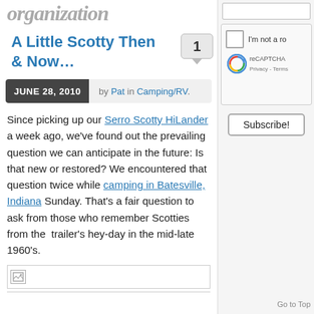organization
A Little Scotty Then & Now…
JUNE 28, 2010  by Pat in Camping/RV.
Since picking up our Serro Scotty HiLander a week ago, we've found out the prevailing question we can anticipate in the future: Is that new or restored? We encountered that question twice while camping in Batesville, Indiana Sunday. That's a fair question to ask from those who remember Scotties from the trailer's hey-day in the mid-late 1960's.
[Figure (other): Broken image placeholder]
I'm not a ro
reCAPTCHA Privacy - Terms
Subscribe!
Go to Top